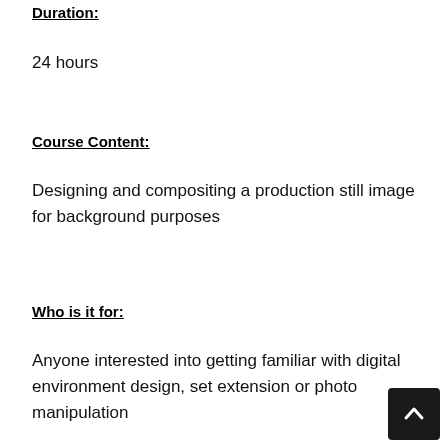Duration:
24 hours
Course Content:
Designing and compositing a production still image for background purposes
Who is it for:
Anyone interested into getting familiar with digital environment design, set extension or photo manipulation